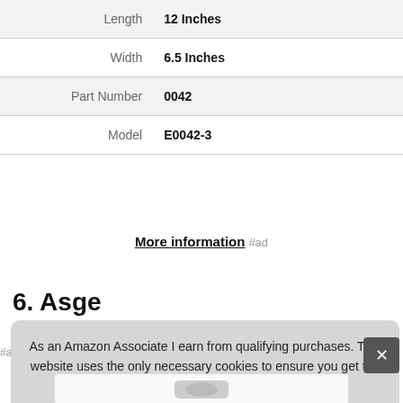|  |  |
| --- | --- |
| Length | 12 Inches |
| Width | 6.5 Inches |
| Part Number | 0042 |
| Model | E0042-3 |
More information #ad
6. Asge
As an Amazon Associate I earn from qualifying purchases. This website uses the only necessary cookies to ensure you get the best experience on our website. More information
[Figure (photo): Partial product image visible at bottom of page]